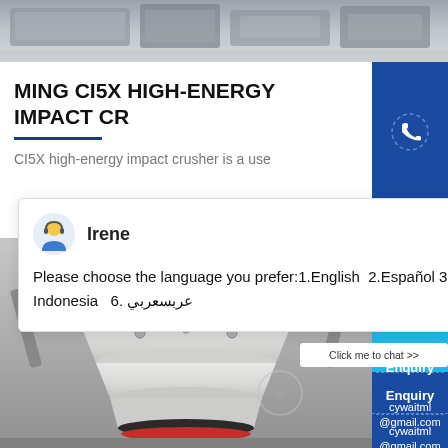[Figure (photo): Top portion of industrial machinery in a factory setting, gray tones]
MING CI5X HIGH-ENERGY IMPACT CR
CI5X high-energy impact crusher is a use
[Figure (screenshot): Chat popup with avatar of Irene, showing language selection message: Please choose the language you prefer:1.English 2.Español 3.русский 4.Français 5.bahasa Indonesia 6. عربسعربي]
[Figure (photo): Industrial impact crusher machine, white/gray color, photographed from below in a workshop]
[Figure (screenshot): Right sidebar with phone icon (blue background), chat widget with smiley face and 'Click me to chat' button, Enquiry section, and cywaitml@gmail.com email]